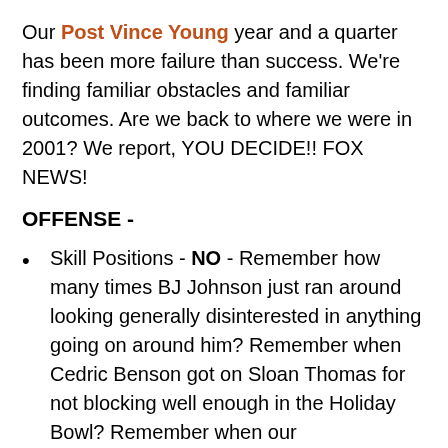Our Post Vince Young year and a quarter has been more failure than success. We're finding familiar obstacles and familiar outcomes. Are we back to where we were in 2001? We report, YOU DECIDE!! FOX NEWS!
OFFENSE -
Skill Positions - NO - Remember how many times BJ Johnson just ran around looking generally disinterested in anything going on around him? Remember when Cedric Benson got on Sloan Thomas for not blocking well enough in the Holiday Bowl? Remember when our upperclassmen receivers made fun of Billy Pittman for having Bell's Palsy? We may be frustratingly inconsistent, but the problem isn't at WR or RB. They block with